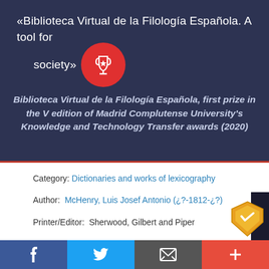«Biblioteca Virtual de la Filología Española. A tool for society»
Biblioteca Virtual de la Filología Española, first prize in the V edition of Madrid Complutense University's Knowledge and Technology Transfer awards (2020)
Category: Dictionaries and works of lexicography
Author: McHenry, Luis Josef Antonio (¿?-1812-¿?)
Printer/Editor: Sherwood, Gilbert and Piper
Place of printing: Londres